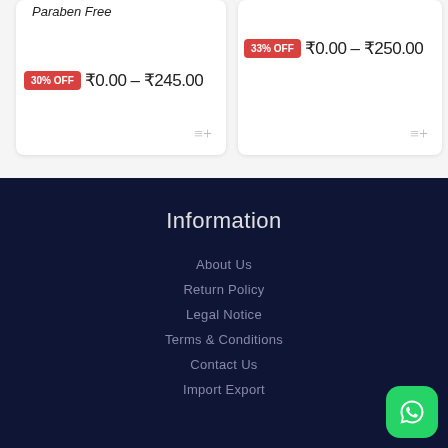Paraben Free
30% OFF  ₹0.00 – ₹245.00
33% OFF  ₹0.00 – ₹250.00
Information
About Us
Return Policy
Legal Notice
Terms & Conditions
Contact Us
Import Export
[Figure (other): WhatsApp contact button]